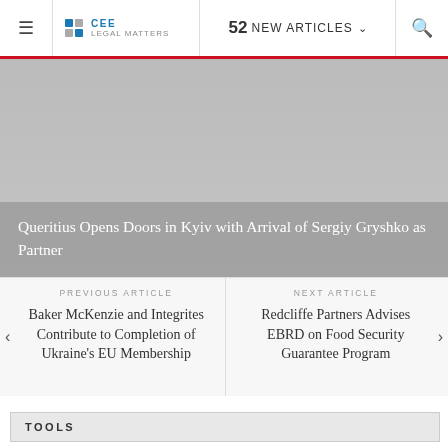≡  CEE Legal Matters  52 NEW ARTICLES ▾  🔍
[Figure (photo): Gray placeholder image area for article about Queritius opening in Kyiv]
Queritius Opens Doors in Kyiv with Arrival of Sergiy Gryshko as Partner
PREVIOUS ARTICLE
Baker McKenzie and Integrites Contribute to Completion of Ukraine's EU Membership
NEXT ARTICLE
Redcliffe Partners Advises EBRD on Food Security Guarantee Program
TOOLS